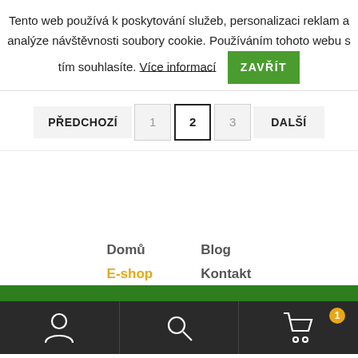Tento web používá k poskytování služeb, personalizaci reklam a analýze návštěvnosti soubory cookie. Používáním tohoto webu s tím souhlasíte. Více informací  ZAVŘÍT
PŘEDCHOZÍ  1  2  3  DALŠÍ
Domů  Blog  E-shop  Kontakt
User icon | Search icon | Cart icon (1)